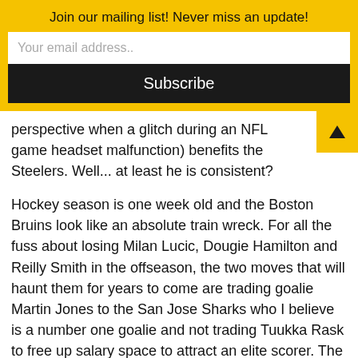Join our mailing list! Never miss an update!
Your email address..
Subscribe
perspective when a glitch during an NFL game headset malfunction) benefits the Steelers. Well... at least he is consistent?
Hockey season is one week old and the Boston Bruins look like an absolute train wreck. For all the fuss about losing Milan Lucic, Dougie Hamilton and Reilly Smith in the offseason, the two moves that will haunt them for years to come are trading goalie Martin Jones to the San Jose Sharks who I believe is a number one goalie and not trading Tuukka Rask to free up salary space to attract an elite scorer. The Bruins have as much goalie depth as any team in the NHL.
Poor form by L.A. Clippers coach Doc Rivers for